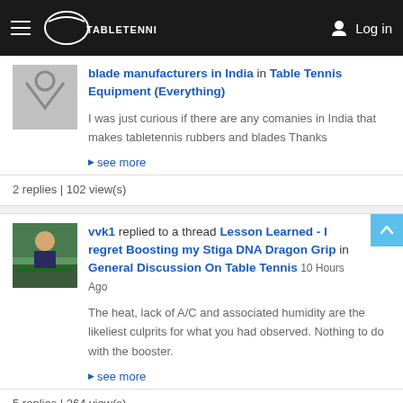TableTennisDaily - Log in
blade manufacturers in India in Table Tennis Equipment (Everything)
I was just curious if there are any comanies in India that makes tabletennis rubbers and blades Thanks
see more
2 replies | 102 view(s)
vvk1 replied to a thread Lesson Learned - I regret Boosting my Stiga DNA Dragon Grip in General Discussion On Table Tennis 10 Hours Ago
The heat, lack of A/C and associated humidity are the likeliest culprits for what you had observed. Nothing to do with the booster.
see more
5 replies | 264 view(s)